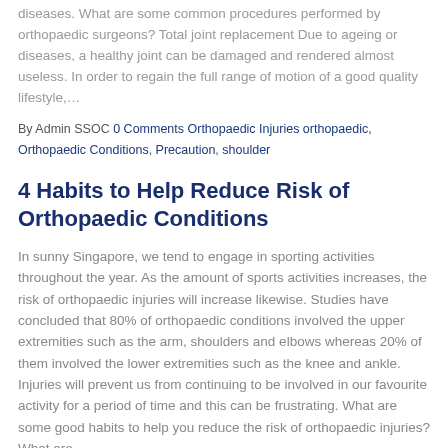diseases. What are some common procedures performed by orthopaedic surgeons? Total joint replacement Due to ageing or diseases, a healthy joint can be damaged and rendered almost useless. In order to regain the full range of motion of a good quality lifestyle,…
By Admin SSOC 0 Comments Orthopaedic Injuries orthopaedic, Orthopaedic Conditions, Precaution, shoulder
4 Habits to Help Reduce Risk of Orthopaedic Conditions
In sunny Singapore, we tend to engage in sporting activities throughout the year. As the amount of sports activities increases, the risk of orthopaedic injuries will increase likewise. Studies have concluded that 80% of orthopaedic conditions involved the upper extremities such as the arm, shoulders and elbows whereas 20% of them involved the lower extremities such as the knee and ankle. Injuries will prevent us from continuing to be involved in our favourite activity for a period of time and this can be frustrating. What are some good habits to help you reduce the risk of orthopaedic injuries? What are…